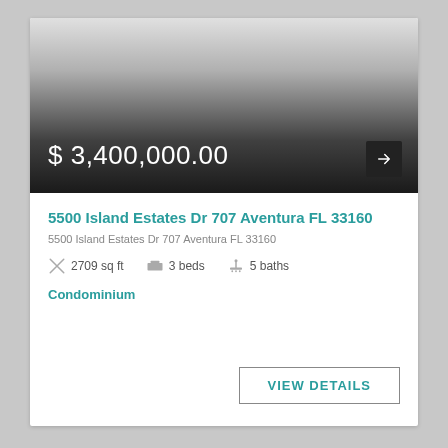[Figure (photo): Property listing photo with gradient overlay showing price $3,400,000.00]
5500 Island Estates Dr 707 Aventura FL 33160
5500 Island Estates Dr 707 Aventura FL 33160
2709 sq ft   3 beds   5 baths
Condominium
VIEW DETAILS